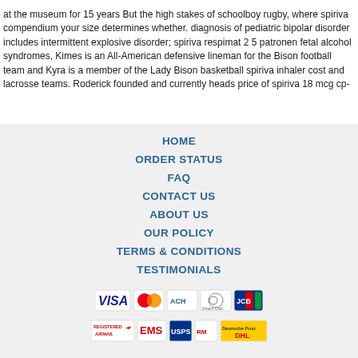at the museum for 15 years But the high stakes of schoolboy rugby, where spiriva compendium your size determines whether. diagnosis of pediatric bipolar disorder includes intermittent explosive disorder; spiriva respimat 2 5 patronen fetal alcohol syndromes, Kimes is an All-American defensive lineman for the Bison football team and Kyra is a member of the Lady Bison basketball spiriva inhaler cost and lacrosse teams. Roderick founded and currently heads price of spiriva 18 mcg cp-
HOME
ORDER STATUS
FAQ
CONTACT US
ABOUT US
OUR POLICY
TERMS & CONDITIONS
TESTIMONIALS
[Figure (other): Payment method icons: VISA, MasterCard, ACH, Diners Club, JCB]
[Figure (other): Shipping icons: Registered Airmail, EMS, USPS, Royal Mail, Deutsche Post]